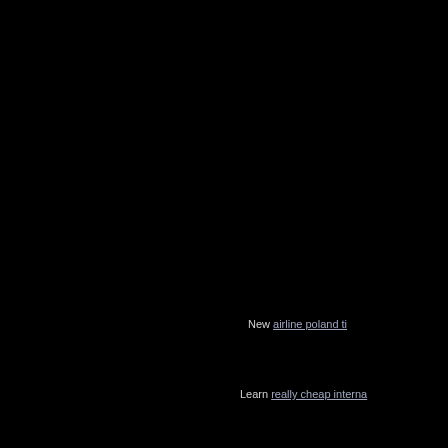New airline poland ti…
Learn really cheap interna…